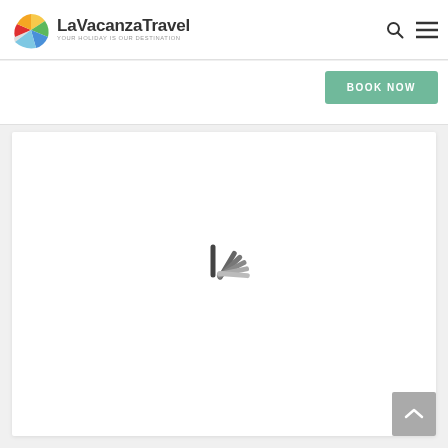LaVacanzaTravel - YOUR HOLIDAY IS OUR DESTINATION
[Figure (screenshot): BOOK NOW green button]
[Figure (screenshot): Loading spinner (animated lines fanning out, grey tones) inside a white card]